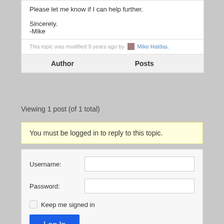Please let me know if I can help further.
Sincerely.
-Mike
This topic was modified 9 years ago by Mike Haldas.
| Author | Posts |
| --- | --- |
Viewing 1 post (of 1 total)
You must be logged in to reply to this topic.
Username:
Password:
Keep me signed in
Log In